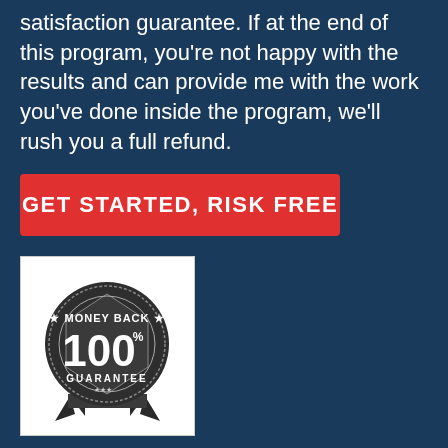satisfaction guarantee. If at the end of this program, you're not happy with the results and can provide me with the work you've done inside the program, we'll rush you a full refund.
GET STARTED, RISK FREE
[Figure (illustration): Money Back 100% Guarantee badge/seal — a dark circular/shield emblem with ribbon at the bottom, text reading MONEY BACK at top, 100% in large numerals in center, GUARANTEE at the bottom with stars.]